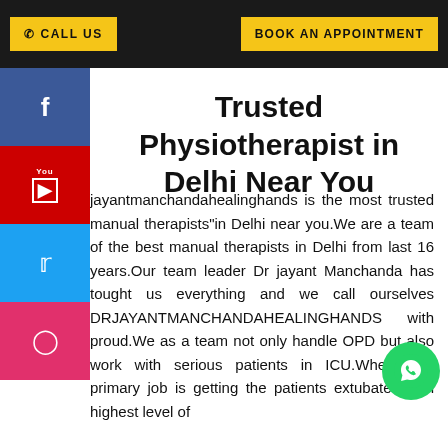CALL US   BOOK AN APPOINTMENT
Trusted Physiotherapist in Delhi Near You
jayantmanchandahealinghands is the most trusted manual therapists"in Delhi near you.We are a team of the best manual therapists in Delhi from last 16 years.Our team leader Dr jayant Manchanda has tought us everything and we call ourselves DRJAYANTMANCHANDAHEALINGHANDS with proud.We as a team not only handle OPD but also work with serious patients in ICU.Where our primary job is getting the patients extubated with highest level of